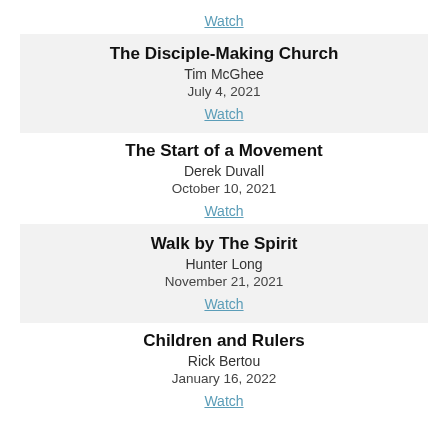Watch
The Disciple-Making Church
Tim McGhee
July 4, 2021
Watch
The Start of a Movement
Derek Duvall
October 10, 2021
Watch
Walk by The Spirit
Hunter Long
November 21, 2021
Watch
Children and Rulers
Rick Bertou
January 16, 2022
Watch